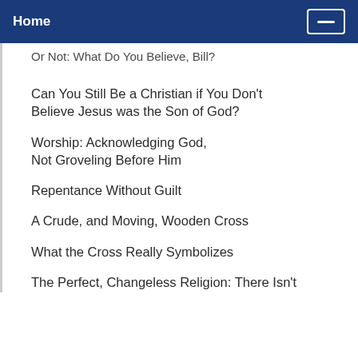Home
Or Not: What Do You Believe, Bill?
Can You Still Be a Christian if You Don't Believe Jesus was the Son of God?
Worship: Acknowledging God, Not Groveling Before Him
Repentance Without Guilt
A Crude, and Moving, Wooden Cross
What the Cross Really Symbolizes
The Perfect, Changeless Religion: There Isn't